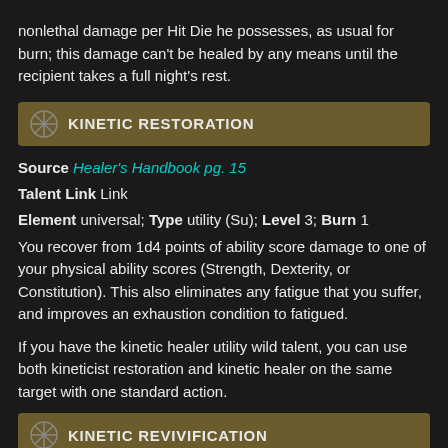nonlethal damage per Hit Die he possesses, as usual for burn; this damage can't be healed by any means until the recipient takes a full night's rest.
Kinetic Restoration
Source Healer's Handbook pg. 15
Talent Link Link
Element universal; Type utility (Su); Level 3; Burn 1
You recover from 1d4 points of ability score damage to one of your physical ability scores (Strength, Dexterity, or Constitution). This also eliminates any fatigue that you suffer, and improves an exhaustion condition to fatigued.
If you have the kinetic healer utility wild talent, you can use both kineticist restoration and kinetic healer on the same target with one standard action.
Kinetic Revivification